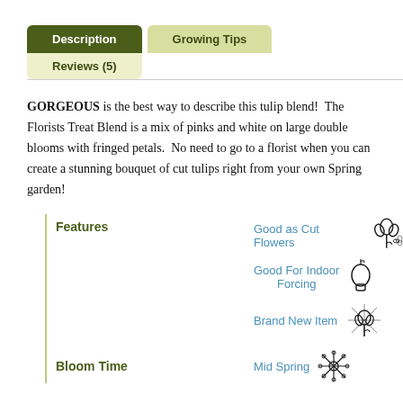Description
Growing Tips
Reviews (5)
GORGEOUS is the best way to describe this tulip blend! The Florists Treat Blend is a mix of pinks and white on large double blooms with fringed petals. No need to go to a florist when you can create a stunning bouquet of cut tulips right from your own Spring garden!
Features
Good as Cut Flowers
Good For Indoor Forcing
Brand New Item
Bloom Time
Mid Spring